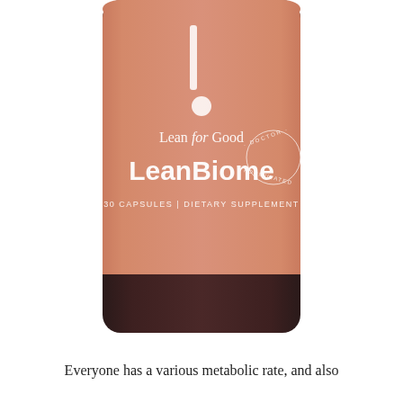[Figure (photo): A brown/amber glass supplement bottle with a salmon/terracotta colored label. The label features the 'l.' logo (a vertical bar and dot), 'Lean for Good' in mixed weight text, 'LeanBiome' in bold, and '30 CAPSULES | DIETARY SUPPLEMENT' in small caps. A circular 'DOCTOR FORMULATED' badge appears on the right side of the label.]
Everyone has a various metabolic rate, and also